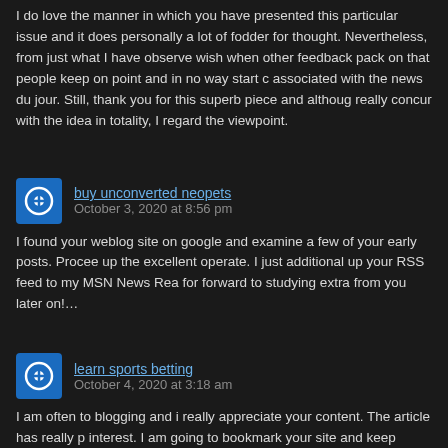I do love the manner in which you have presented this particular issue and it does personally a lot of fodder for thought. Nevertheless, from just what I have observe wish when other feedback pack on that people keep on point and in no way start c associated with the news du jour. Still, thank you for this superb piece and althoug really concur with the idea in totality, I regard the viewpoint.
buy unconverted neopets
October 3, 2020 at 8:56 pm
I found your weblog site on google and examine a few of your early posts. Procee up the excellent operate. I just additional up your RSS feed to my MSN News Rea for forward to studying extra from you later on!…
learn sports betting
October 4, 2020 at 3:18 am
I am often to blogging and i really appreciate your content. The article has really p interest. I am going to bookmark your site and keep checking for new information.
online casino canada